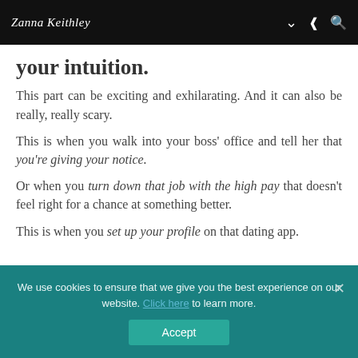Zanna Keithley
your intuition.
This part can be exciting and exhilarating. And it can also be really, really scary.
This is when you walk into your boss' office and tell her that you're giving your notice.
Or when you turn down that job with the high pay that doesn't feel right for a chance at something better.
This is when you set up your profile on that dating app.
We use cookies to ensure that we give you the best experience on our website. Click here to learn more.